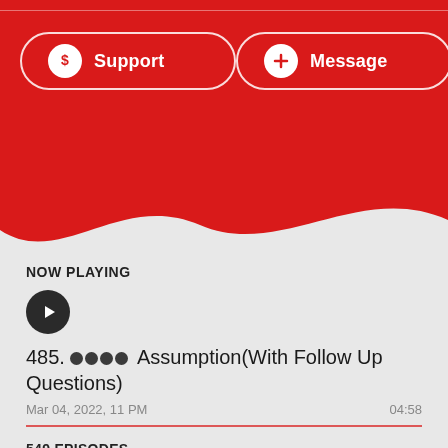[Figure (screenshot): Red header background with wave shape at bottom]
Support button
Message button
NOW PLAYING
485. 🔴🔴🔴🔴 Assumption(With Follow Up Questions)
Mar 04, 2022, 11 PM    04:58
549 EPISODES
550. 🔴🔴🔴🔴🔴🔴 Sorting a Trash
Aug 20, 2022, 12 AM    04:47